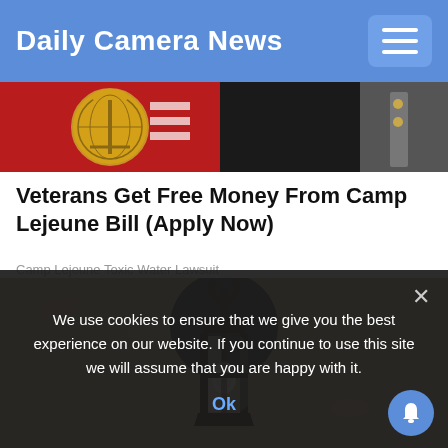Daily Camera News
[Figure (photo): Partial view of a military/Marine Corps emblem on red and black background]
Veterans Get Free Money From Camp Lejeune Bill (Apply Now)
Camp Lejeune Toxic Water Lawsuit
[Figure (photo): Close-up photo of a vintage black metal outdoor lantern mounted on a textured stucco wall]
We use cookies to ensure that we give you the best experience on our website. If you continue to use this site we will assume that you are happy with it.